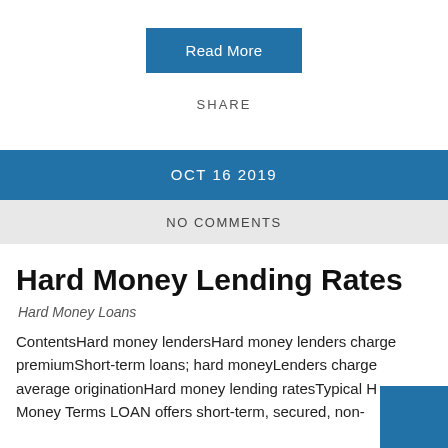Read More
SHARE
OCT 16 2019
NO COMMENTS
Hard Money Lending Rates
Hard Money Loans
ContentsHard money lendersHard money lenders charge premiumShort-term loans; hard moneyLenders charge average originationHard money lending ratesTypical Hard Money Terms LOAN offers short-term, secured, non-